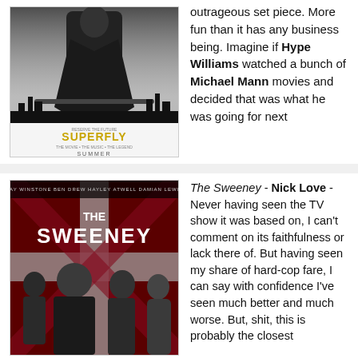[Figure (photo): Movie poster for Superfly - black and white image of a figure in a long coat holding a weapon, with city skyline. Text says SUPERFLY and SUMMER.]
outrageous set piece. More fun than it has any business being. Imagine if Hype Williams watched a bunch of Michael Mann movies and decided that was what he was going for next
[Figure (photo): Movie poster for The Sweeney - Ray Winstone, Ben Drew, Hayley Atwell, Damian Lewis standing in front of a Union Jack flag.]
The Sweeney - Nick Love - Never having seen the TV show it was based on, I can't comment on its faithfulness or lack there of. But having seen my share of hard-cop fare, I can say with confidence I've seen much better and much worse. But, shit, this is probably the closest